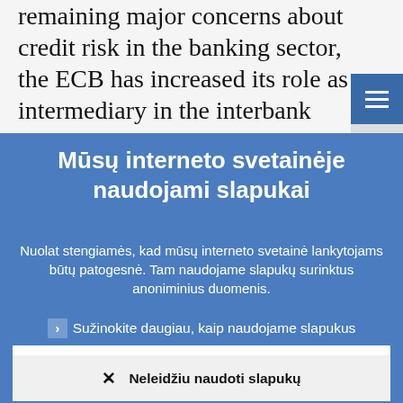remaining major concerns about credit risk in the banking sector, the ECB has increased its role as intermediary in the interbank market. When considering
Mūsų interneto svetainėje naudojami slapukai
Nuolat stengiamės, kad mūsų interneto svetainė lankytojams būtų patogesnė. Tam naudojame slapukų surinktus anoniminius duomenis.
Sužinokite daugiau, kaip naudojame slapukus
✓ Suprantu ir leidžiu naudoti slapukus
✕ Neleidžiu naudoti slapukų